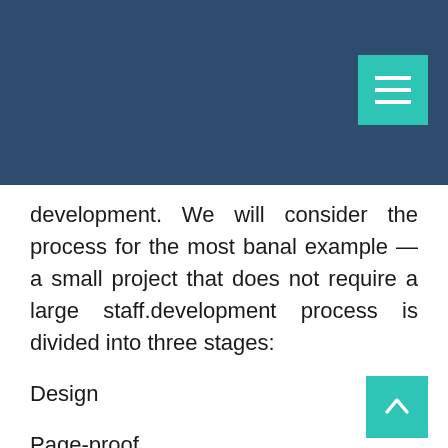development. We will consider the process for the most banal example — a small project that does not require a large staff.development process is divided into three stages:
Design
Page-proof
Programming(Coding)
Design